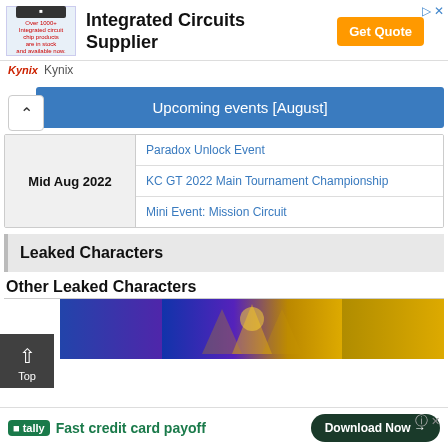[Figure (screenshot): Kynix advertisement banner: Integrated Circuits Supplier with Get Quote button]
Upcoming events [August]
| Date | Event |
| --- | --- |
| Mid Aug 2022 | Paradox Unlock Event |
| Mid Aug 2022 | KC GT 2022 Main Tournament Championship |
| Mid Aug 2022 | Mini Event: Mission Circuit |
Leaked Characters
Other Leaked Characters
[Figure (screenshot): Partially visible game character image (purple/gold armor character)]
[Figure (screenshot): Tally advertisement: Fast credit card payoff with Download Now button]